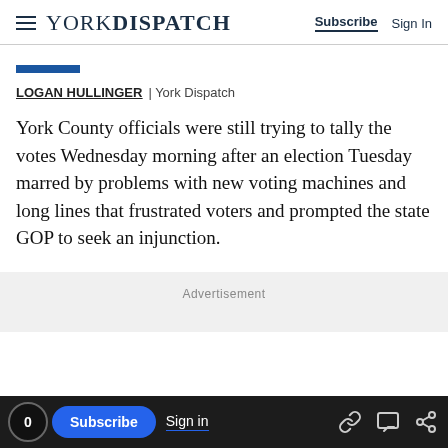YORK DISPATCH | Subscribe  Sign In
[Figure (other): Blue category bar / accent line]
LOGAN HULLINGER | York Dispatch
York County officials were still trying to tally the votes Wednesday morning after an election Tuesday marred by problems with new voting machines and long lines that frustrated voters and prompted the state GOP to seek an injunction.
Advertisement
0  Subscribe  Sign in